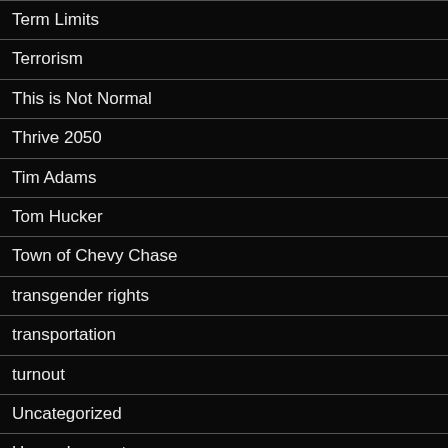Term Limits
Terrorism
This is Not Normal
Thrive 2050
Tim Adams
Tom Hucker
Town of Chevy Chase
transgender rights
transportation
turnout
Uncategorized
Unemployment